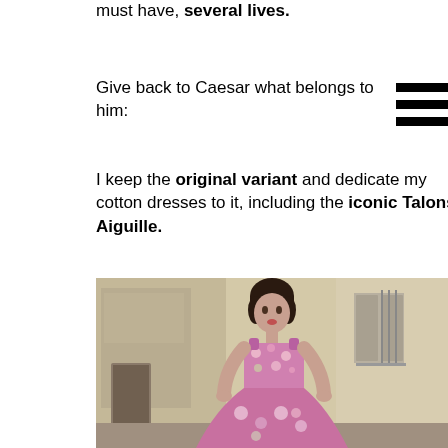must have, several lives.
Give back to Caesar what belongs to him:
I keep the original variant and dedicate my cotton dresses to it, including the iconic Talons Aiguille.
[Figure (photo): Woman in a floral cotton dress standing on a street, with old building facades in the background]